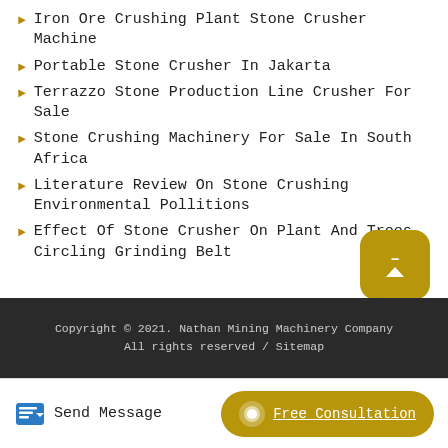Iron Ore Crushing Plant Stone Crusher Machine
Portable Stone Crusher In Jakarta
Terrazzo Stone Production Line Crusher For Sale
Stone Crushing Machinery For Sale In South Africa
Literature Review On Stone Crushing Environmental Pollitions
Effect Of Stone Crusher On Plant And Trees Circling Grinding Belt
Copyright © 2021. Nathan Mining Machinery Company All rights reserved / Sitemap